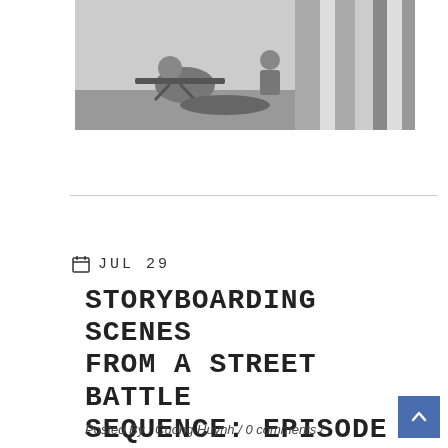[Figure (illustration): Black and white storyboard illustration showing a street battle scene with figures and weapons]
JUL 29
STORYBOARDING SCENES FROM A STREET BATTLE SEQUENCE: EPISODE 02 PART 1 SHOT 22G
Posted By : Cuong Huynh / 0 comments /